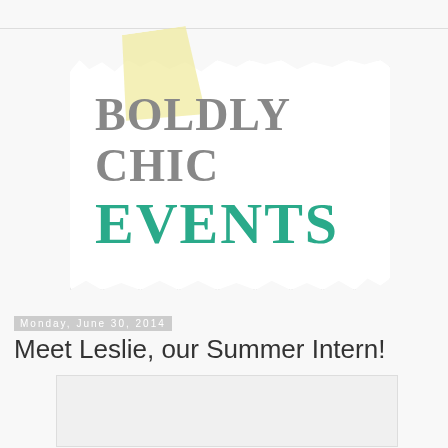[Figure (logo): Boldly Chic Events logo on a torn paper note with yellow tape, showing 'BOLDLY CHIC' in grey and 'EVENTS' in teal/green serif font]
Monday, June 30, 2014
Meet Leslie, our Summer Intern!
[Figure (photo): Blank/white image placeholder rectangle]